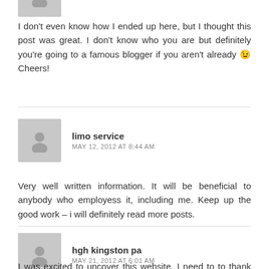[Figure (illustration): Partial gray avatar/silhouette image at top of page, cropped]
I don't even know how I ended up here, but I thought this post was great. I don't know who you are but definitely you're going to a famous blogger if you aren't already 😉 Cheers!
limo service
MAY 12, 2012 AT 8:44 AM
Very well written information. It will be beneficial to anybody who employess it, including me. Keep up the good work – i will definitely read more posts.
hgh kingston pa
MAY 21, 2012 AT 6:01 AM
I was excited to uncover this website. I need to to thank you